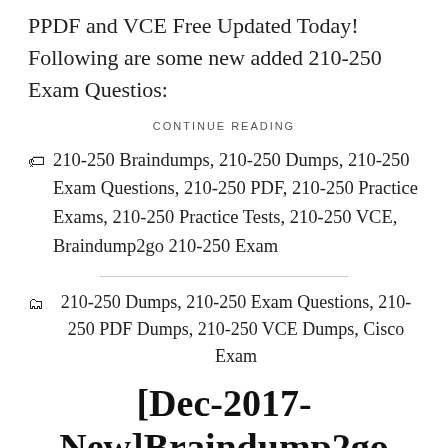PPDF and VCE Free Updated Today! Following are some new added 210-250 Exam Questios:
CONTINUE READING
210-250 Braindumps, 210-250 Dumps, 210-250 Exam Questions, 210-250 PDF, 210-250 Practice Exams, 210-250 Practice Tests, 210-250 VCE, Braindump2go 210-250 Exam
210-250 Dumps, 210-250 Exam Questions, 210-250 PDF Dumps, 210-250 VCE Dumps, Cisco Exam
[Dec-2017-New]Braindump2go